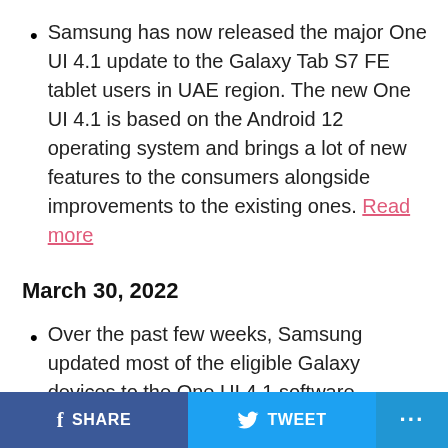Samsung has now released the major One UI 4.1 update to the Galaxy Tab S7 FE tablet users in UAE region. The new One UI 4.1 is based on the Android 12 operating system and brings a lot of new features to the consumers alongside improvements to the existing ones. Read more
March 30, 2022
Over the past few weeks, Samsung updated most of the eligible Galaxy devices to the One UI 4.1 software. However, the pricey Galaxy A52s smartphone has started getting the new Android 12-based One UI 4.1 update with various new
SHARE   TWEET   ...